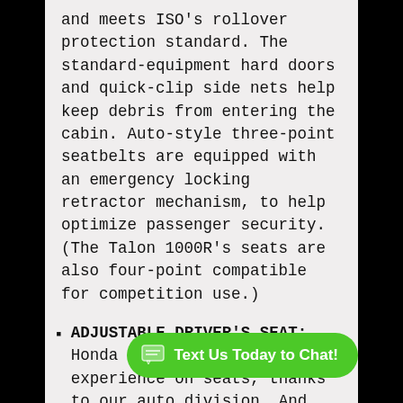and meets ISO's rollover protection standard. The standard-equipment hard doors and quick-clip side nets help keep debris from entering the cabin. Auto-style three-point seatbelts are equipped with an emergency locking retractor mechanism, to help optimize passenger security. (The Talon 1000R's seats are also four-point compatible for competition use.)
ADJUSTABLE DRIVER'S SEAT: Honda has a ton of data and experience on seats, thanks to our auto division. And while just about every sport side-by-side has an adjustable driver's seat, the Talon gets it right. Designed to fit a wide range of operators, it also locks